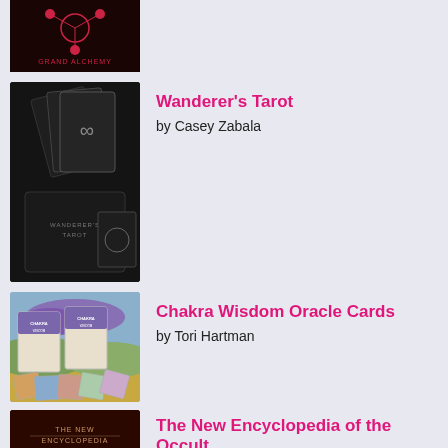[Figure (photo): Dark alchemy tarot deck book cover, partially visible at top]
Wanderer's Tarot by Casey Zabala
[Figure (photo): Wanderer's Tarot black deck box and cards fanned out]
Chakra Wisdom Oracle Cards by Tori Hartman
[Figure (photo): Chakra Wisdom Oracle Cards box sets and spread cards with landscape imagery]
The New Encyclopedia of the Occult by John Michael Greer
[Figure (photo): The New Encyclopedia of the Occult dark red book cover, partially visible]